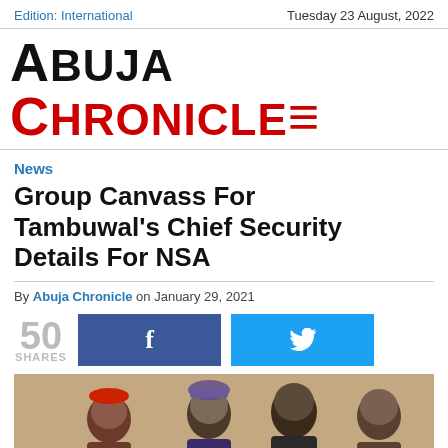Edition: International | Tuesday 23 August, 2022
Abuja Chronicle
News
Group Canvass For Tambuwal's Chief Security Details For NSA
By Abuja Chronicle on January 29, 2021
50 SHARES
[Figure (photo): Group photograph of several men, including one wearing a red cap and another in traditional Nigerian attire with a cap]